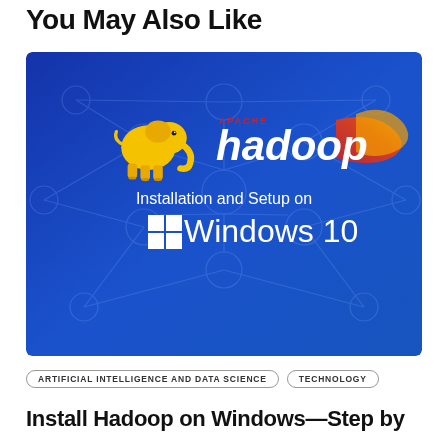You May Also Like
[Figure (illustration): Apache Hadoop Installation and Setup on Windows 10 banner image with blue gradient background showing a hexagonal network pattern, the Apache Hadoop logo (yellow elephant and red/orange 'hadoop' text), and text 'Installation and Setup on Windows 10' with Windows logo.]
ARTIFICIAL INTELLIGENCE AND DATA SCIENCE
TECHNOLOGY
Install Hadoop on Windows—Step by